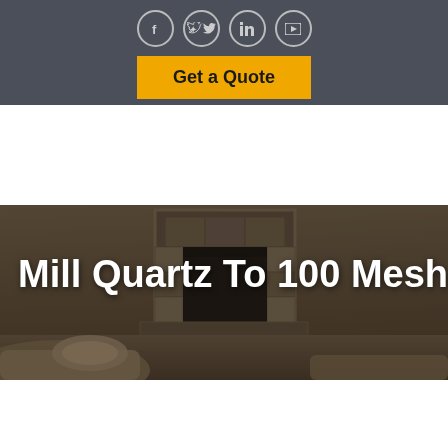[Figure (other): Social media icons in circles: Facebook, Twitter, LinkedIn, YouTube on dark gray bar]
[Figure (other): Yellow 'Get a Quote' button on dark gray background]
[Figure (photo): Fireplace interior photo with dark tones, sofa cushion visible in foreground]
Mill Quartz To 100 Mesh